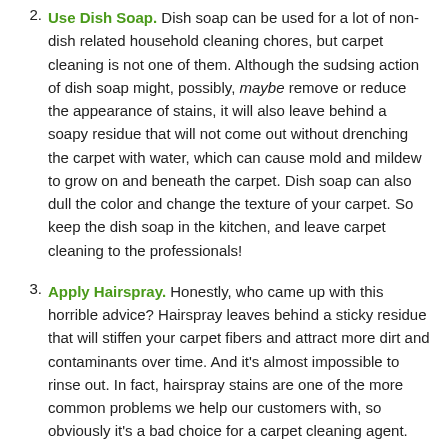Use Dish Soap. Dish soap can be used for a lot of non-dish related household cleaning chores, but carpet cleaning is not one of them. Although the sudsing action of dish soap might, possibly, maybe remove or reduce the appearance of stains, it will also leave behind a soapy residue that will not come out without drenching the carpet with water, which can cause mold and mildew to grow on and beneath the carpet. Dish soap can also dull the color and change the texture of your carpet. So keep the dish soap in the kitchen, and leave carpet cleaning to the professionals!
Apply Hairspray. Honestly, who came up with this horrible advice? Hairspray leaves behind a sticky residue that will stiffen your carpet fibers and attract more dirt and contaminants over time. And it's almost impossible to rinse out. In fact, hairspray stains are one of the more common problems we help our customers with, so obviously it's a bad choice for a carpet cleaning agent. Remember: hairspray is for hair!
Clean with Vinegar. Vinegar is enjoying a new revival as a multi-purpose, all natural household cleaning agent. You can find articles online that recommend using vinegar for...